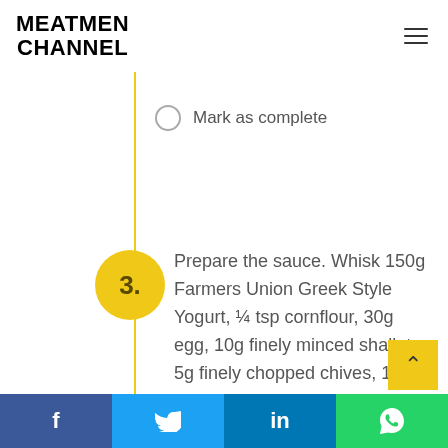MEATMEN CHANNEL
Mark as complete
3. Prepare the sauce. Whisk 150g Farmers Union Greek Style Yogurt, ¼ tsp cornflour, 30g egg, 10g finely minced shallots, 5g finely chopped chives, 1
f  Twitter  in  WhatsApp